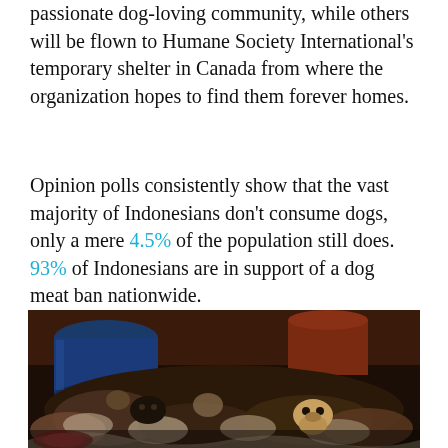passionate dog-loving community, while others will be flown to Humane Society International's temporary shelter in Canada from where the organization hopes to find them forever homes.
Opinion polls consistently show that the vast majority of Indonesians don't consume dogs, only a mere 4.5% of the population still does. 93% of Indonesians are in support of a dog meat ban nationwide.
[Figure (photo): A dark photograph showing multiple dogs bundled in cloth sacks piled together in a crowded dim space with a blue barrel and reddish-brown walls visible in the background.]